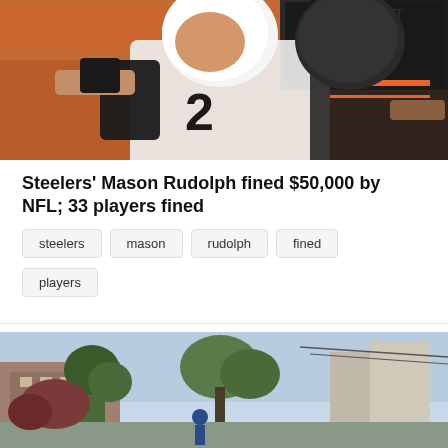[Figure (photo): Football players in altercation — Steelers player #2 Mason Rudolph and Browns player #95 Myles Garrett, wearing helmets, during an NFL game brawl on field]
Steelers' Mason Rudolph fined $50,000 by NFL; 33 players fined
steelers
mason
rudolph
fined
players
[Figure (photo): Street scene with trees and buildings, people visible, appears to be an urban outdoor setting]